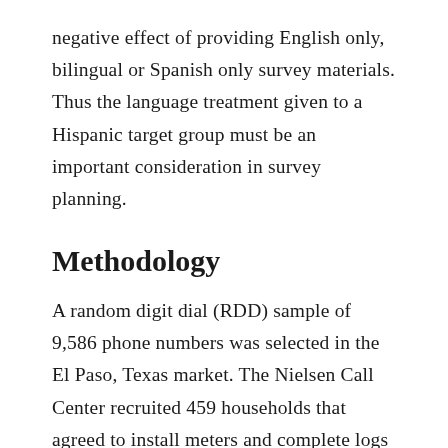negative effect of providing English only, bilingual or Spanish only survey materials. Thus the language treatment given to a Hispanic target group must be an important consideration in survey planning.
Methodology
A random digit dial (RDD) sample of 9,586 phone numbers was selected in the El Paso, Texas market. The Nielsen Call Center recruited 459 households that agreed to install meters and complete logs of their household's viewing for one week. Of these 459 households, 431 were mailed survey packets. Of those 431 households, 280